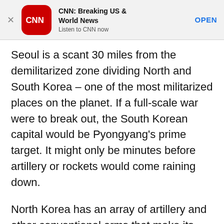[Figure (screenshot): CNN app banner advertisement with CNN logo, title 'CNN: Breaking US & World News', subtitle 'Listen to CNN now', and an OPEN button]
Seoul is a scant 30 miles from the demilitarized zone dividing North and South Korea – one of the most militarized places on the planet. If a full-scale war were to break out, the South Korean capital would be Pyongyang's prime target. It might only be minutes before artillery or rockets would come raining down.
North Korea has an array of artillery and other conventional arms that make its military a credible